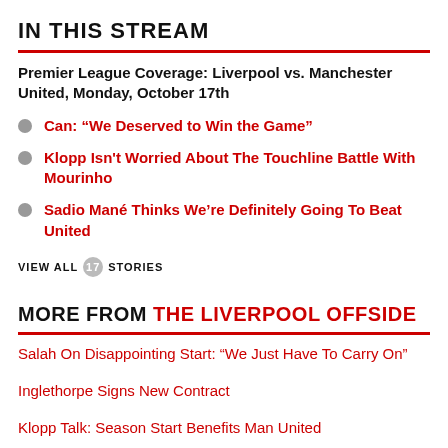IN THIS STREAM
Premier League Coverage: Liverpool vs. Manchester United, Monday, October 17th
Can: “We Deserved to Win the Game”
Klopp Isn't Worried About The Touchline Battle With Mourinho
Sadio Mané Thinks We’re Definitely Going To Beat United
VIEW ALL 17 STORIES
MORE FROM THE LIVERPOOL OFFSIDE
Salah On Disappointing Start: “We Just Have To Carry On”
Inglethorpe Signs New Contract
Klopp Talk: Season Start Benefits Man United